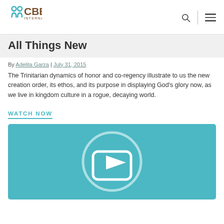CBE International
All Things New
By Adelita Garza | July 31, 2015
The Trinitarian dynamics of honor and co-regency illustrate to us the new creation order, its ethos, and its purpose in displaying God's glory now, as we live in kingdom culture in a rogue, decaying world.
WATCH NOW
[Figure (screenshot): Teal video thumbnail with a play button icon (circle with a rounded rectangle play symbol inside)]